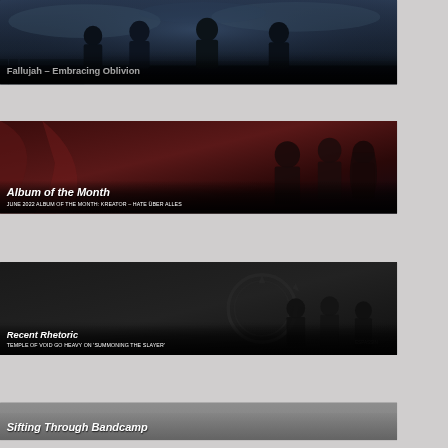[Figure (photo): Band photo of Fallujah - dark moody shot of four musicians against dramatic sky]
Fallujah – Embracing Oblivion
[Figure (photo): Dark red-toned photo of a band, Album of the Month card]
Album of the Month
JUNE 2022 ALBUM OF THE MONTH: KREATOR – HATE ÜBER ALLES
[Figure (photo): Dark photo of band for Recent Rhetoric section featuring Temple of Void]
Recent Rhetoric
TEMPLE OF VOID GO HEAVY ON 'SUMMONING THE SLAYER'
[Figure (photo): Gray background card for Sifting Through Bandcamp section]
Sifting Through Bandcamp